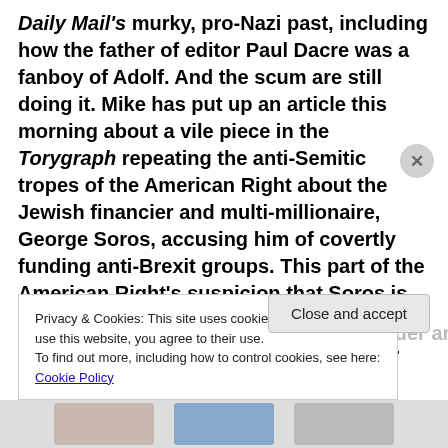Daily Mail's murky, pro-Nazi past, including how the father of editor Paul Dacre was a fanboy of Adolf. And the scum are still doing it. Mike has put up an article this morning about a vile piece in the Torygraph repeating the anti-Semitic tropes of the American Right about the Jewish financier and multi-millionaire, George Soros, accusing him of covertly funding anti-Brexit groups. This part of the American Right's suspicion that Soros is responsible for all manner of anti-democratic, subversive political groups. It's part of the anti-Semitic trope of the Jews leader and
Privacy & Cookies: This site uses cookies. By continuing to use this website, you agree to their use.
To find out more, including how to control cookies, see here: Cookie Policy
Close and accept